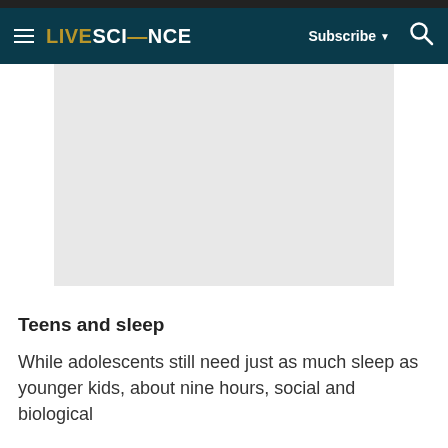LIVESCIENCE — Subscribe | Search
[Figure (photo): Gray placeholder image block representing an article photo]
Teens and sleep
While adolescents still need just as much sleep as younger kids, about nine hours, social and biological